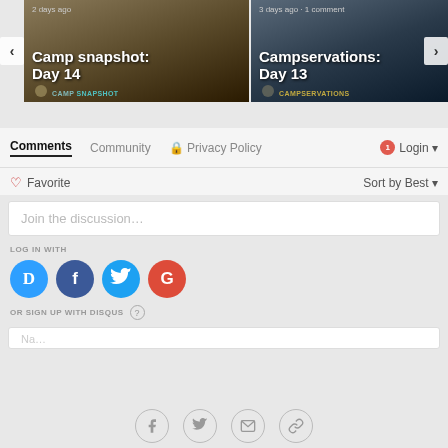[Figure (screenshot): Two sports camp article cards side by side. Left card: '2 days ago' timestamp, title 'Camp snapshot: Day 14', subtitle 'CAMP SNAPSHOT'. Right card: '3 days ago · 1 comment' timestamp, title 'Campservations: Day 13', subtitle 'CAMPSERVATIONS'.]
Comments  Community  Privacy Policy  Login
Favorite  Sort by Best
Join the discussion…
LOG IN WITH
OR SIGN UP WITH DISQUS
Name input field (partially visible)